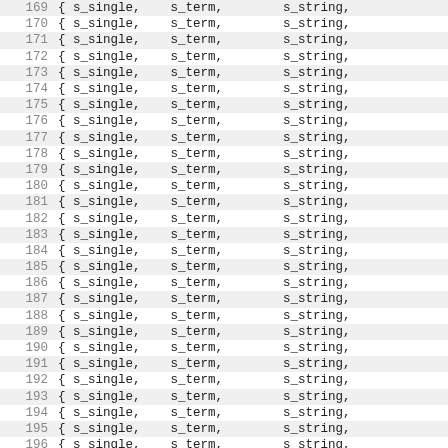Code listing lines 169-201: each line contains { s_single,  s_term,  s_string, ...